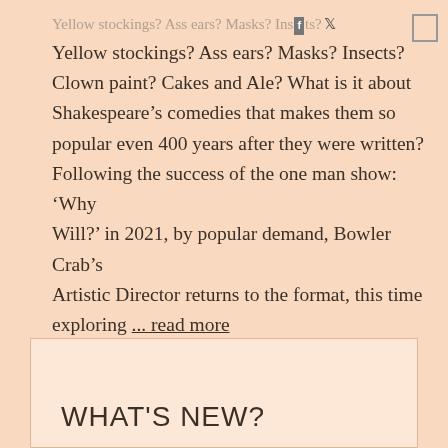Yellow stockings? Ass ears? Masks? Insects? Clown paint? Cakes and Ale?
Yellow stockings? Ass ears? Masks? Insects? Clown paint? Cakes and Ale? What is it about Shakespeare’s comedies that makes them so popular even 400 years after they were written? Following the success of the one man show: ‘Why Will?’ in 2021, by popular demand, Bowler Crab’s Artistic Director returns to the format, this time exploring ... read more
WHAT'S NEW?